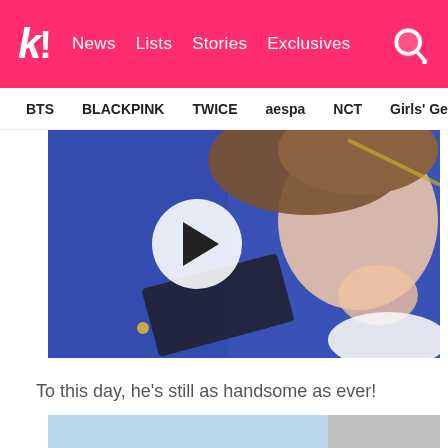k! News | Lists | Stories | Exclusives
BTS | BLACKPINK | TWICE | aespa | NCT | Girls' Generation
[Figure (photo): Video thumbnail showing a young man lying down looking up, with a play button overlay. Background is blue fabric. A partial video play circle button is visible.]
To this day, he’s still as handsome as ever!
[Figure (photo): Bottom strip showing two partial images: left image has light blue background, right image has grey/neutral tones.]